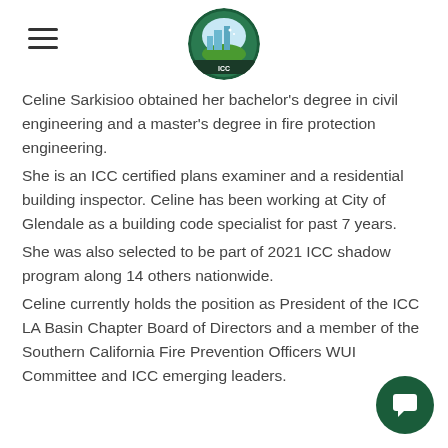ICC LA Basin Chapter
Celine Sarkisioo obtained her bachelor's degree in civil engineering and a master's degree in fire protection engineering.
She is an ICC certified plans examiner and a residential building inspector.  Celine has been working at City of Glendale as a building code specialist for past 7 years.
She was also selected to be part of 2021 ICC shadow program along 14 others nationwide.
Celine currently holds the position as President of the ICC LA Basin Chapter Board of Directors and a member of the Southern California Fire Prevention Officers WUI Committee and ICC emerging leaders.